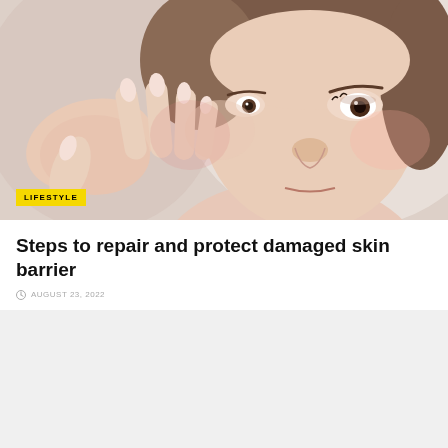[Figure (photo): Close-up photo of a young woman with brown hair touching her cheek/face with manicured fingers, looking with slight concern. Light/neutral background. LIFESTYLE badge overlay at bottom left.]
Steps to repair and protect damaged skin barrier
AUGUST 23, 2022